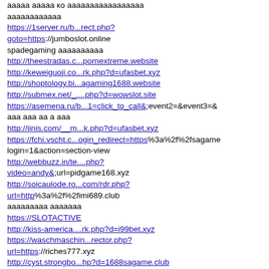ааааа ааааа ко ааааааааааааааааа
аааааааааааа
https://1server.ru/b...rect.php?goto=https://jumboslot.online
spadegaming аааааааааа
http://theestradas.c...pornextreme.website
http://keweiguoji.co...rk.php?d=ufasbet.xyz
http://shoptology.bi...agaming1688.website
http://submex.net/_....php?d=wowslot.site
https://asemena.ru/b...1=click_to_call&;event2=&event3=&
ааа ааа аа а ааа
http://jinis.com/__m...k.php?d=ufasbet.xyz
https://fchi.vscht.c...ogin_redirect=https%3a%2f%2fsagame
login=1&action=section-view
http://webbuzz.in/te....php?video=andy&;url=pidgame168.xyz
http://soicaulode.ro...com/rdr.php?url=http%3a%2f%2fimi689.club
ааааааааа ааааааа
https://SLOTACTIVE
http://kiss-america....rk.php?d=i99bet.xyz
https://waschmaschin...rector.php?url=https://riches777.xyz
http://cyst.strongbo...hp?d=1688sagame.club
аааааааааа аааааааааааааа аааааааааааа аааааааааааааа 2565
http://shopflashback...ger.php?